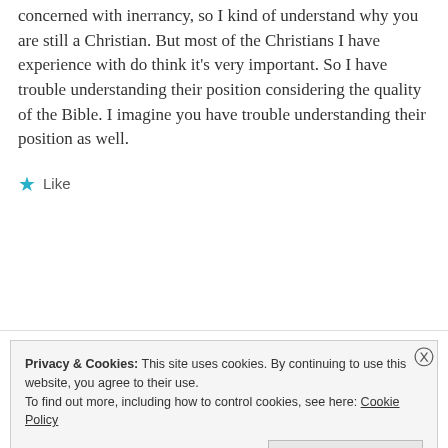concerned with inerrancy, so I kind of understand why you are still a Christian. But most of the Christians I have experience with do think it's very important. So I have trouble understanding their position considering the quality of the Bible. I imagine you have trouble understanding their position as well.
★ Like
Privacy & Cookies: This site uses cookies. By continuing to use this website, you agree to their use. To find out more, including how to control cookies, see here: Cookie Policy
Close and accept